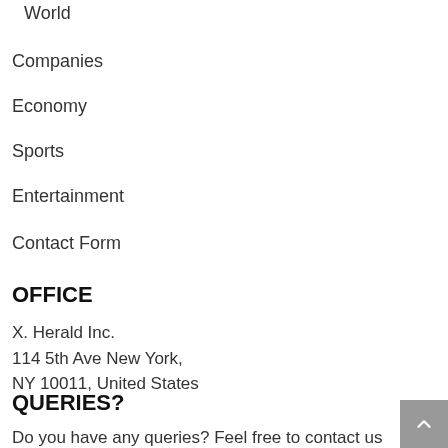World
Companies
Economy
Sports
Entertainment
Contact Form
OFFICE
X. Herald Inc.
114 5th Ave New York,
NY 10011, United States
QUERIES?
Do you have any queries? Feel free to contact us via our Contact F